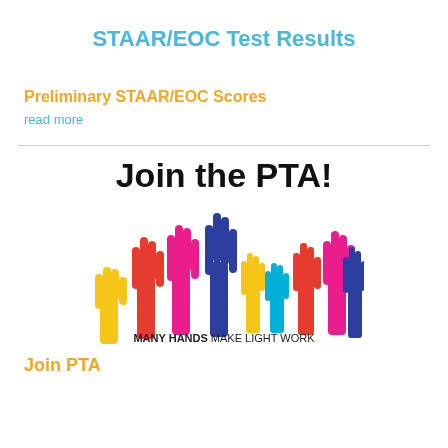STAAR/EOC Test Results
Preliminary STAAR/EOC Scores
read more
[Figure (illustration): Join the PTA! text with colorful hands raised illustration and tagline MANY HANDS MAKE LIGHT WORK]
Join PTA